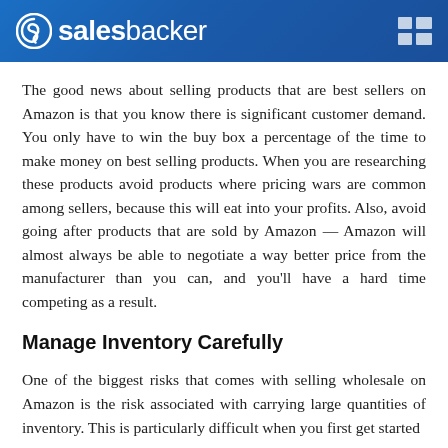salesbacker
The good news about selling products that are best sellers on Amazon is that you know there is significant customer demand. You only have to win the buy box a percentage of the time to make money on best selling products. When you are researching these products avoid products where pricing wars are common among sellers, because this will eat into your profits. Also, avoid going after products that are sold by Amazon — Amazon will almost always be able to negotiate a way better price from the manufacturer than you can, and you'll have a hard time competing as a result.
Manage Inventory Carefully
One of the biggest risks that comes with selling wholesale on Amazon is the risk associated with carrying large quantities of inventory. This is particularly difficult when you first get started